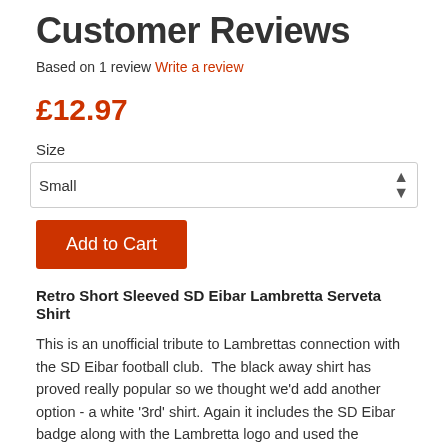Customer Reviews
Based on 1 review Write a review
£12.97
Size
Small
Add to Cart
Retro Short Sleeved SD Eibar Lambretta Serveta Shirt
This is an unofficial tribute to Lambrettas connection with the SD Eibar football club.  The black away shirt has proved really popular so we thought we'd add another option - a white '3rd' shirt. Again it includes the SD Eibar badge along with the Lambretta logo and used the Servata logo as the sponsor.